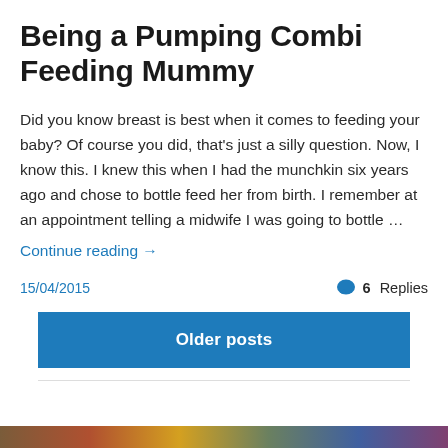Being a Pumping Combi Feeding Mummy
Did you know breast is best when it comes to feeding your baby? Of course you did, that's just a silly question. Now, I know this. I knew this when I had the munchkin six years ago and chose to bottle feed her from birth. I remember at an appointment telling a midwife I was going to bottle …
Continue reading →
15/04/2015
6 Replies
Older posts